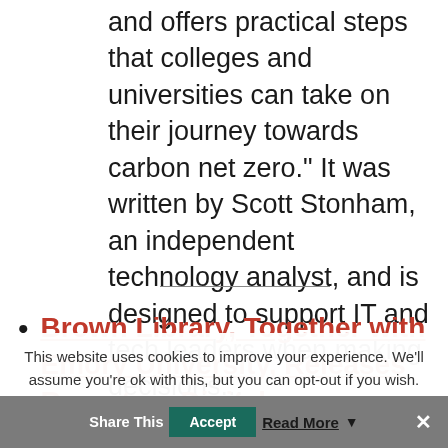and offers practical steps that colleges and universities can take on their journey towards carbon net zero." It was written by Scott Stonham, an independent technology analyst, and is designed to support IT and tech leaders when making decisions..."
Brown Library, Together with Emory University, Releases Report on Digital
This website uses cookies to improve your experience. We'll assume you're ok with this, but you can opt-out if you wish.